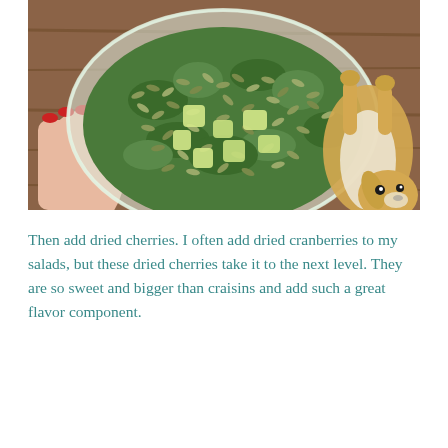[Figure (photo): Overhead view of a hand holding a plastic container of green salad with seeds and apple chunks on a wooden table, with a small dog (chihuahua mix) looking up from the right side of the frame.]
Then add dried cherries.  I often add dried cranberries to my salads, but these dried cherries take it to the next level.  They are so sweet and bigger than craisins and add such a great flavor component.